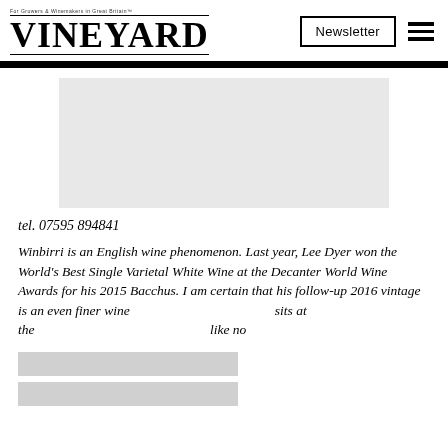VINEYARD — For Growers & Winemakers in Great Britain — Newsletter
[Figure (photo): Large gray placeholder/redacted image area]
tel. 07595 894841
Winbirri is an English wine phenomenon. Last year, Lee Dyer won the World's Best Single Varietal White Wine at the Decanter World Wine Awards for his 2015 Bacchus. I am certain that his follow-up 2016 vintage is an even finer wine [redacted] sits at the [redacted] like no other